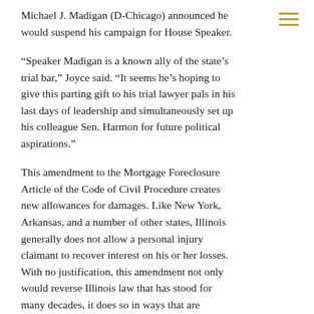Michael J. Madigan (D-Chicago) announced he would suspend his campaign for House Speaker.
“Speaker Madigan is a known ally of the state’s trial bar,” Joyce said. “It seems he’s hoping to give this parting gift to his trial lawyer pals in his last days of leadership and simultaneously set up his colleague Sen. Harmon for future political aspirations.”
This amendment to the Mortgage Foreclosure Article of the Code of Civil Procedure creates new allowances for damages. Like New York, Arkansas, and a number of other states, Illinois generally does not allow a personal injury claimant to recover interest on his or her losses. With no justification, this amendment not only would reverse Illinois law that has stood for many decades, it does so in ways that are